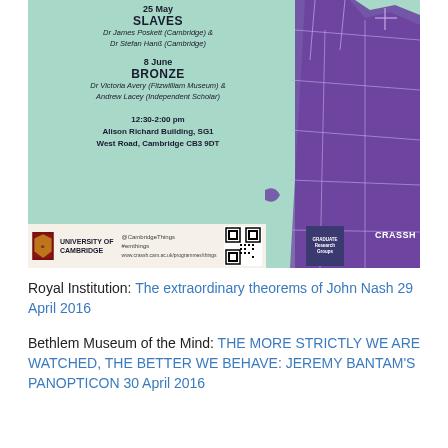[Figure (infographic): University of Cambridge CRASSH event poster with teal background and purple map of Cambridge regions on the right. Text shows: 25 May SLAVES Dr James Poskett (Cambridge) & Dr Stefan Hanß (Cambridge). 8 June BRONZE Dr Victoria Avery (Fitzwilliam Museum) & Andrew Lacey (Independent Scholar). 12:30-2:00 pm Alison Richard Building, SG1 West Road, Cambridge CB3 9DT. Footer with University of Cambridge logo, @CambridgeThings, #emthings, QR code, Graduate Research Groups badge, CRASSH label.]
Royal Institution: The extraordinary theorems of John Nash 29 April 2016
Bethlem Museum of the Mind: THE MORE STRICTLY WE ARE WATCHED, THE BETTER WE BEHAVE: JEREMY BANTAM'S PANOPTICON 30 April 2016